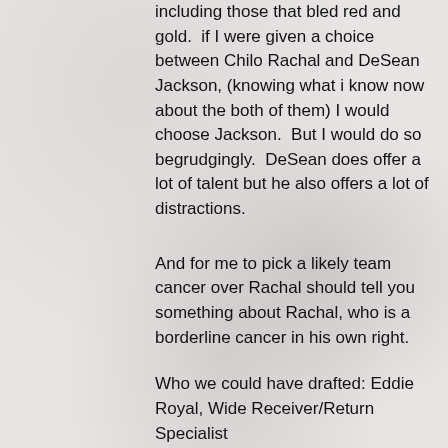including those that bled red and gold.  if I were given a choice between Chilo Rachal and DeSean Jackson, (knowing what i know now about the both of them) I would choose Jackson.  But I would do so begrudgingly.  DeSean does offer a lot of talent but he also offers a lot of distractions.
And for me to pick a likely team cancer over Rachal should tell you something about Rachal, who is a borderline cancer in his own right.
Who we could have drafted: Eddie Royal, Wide Receiver/Return Specialist
#2 Rashaun Woods, 2004 1st Round
"With the 31st pick in the 2004 draft, the San Francisco 49ers select Rashaun Woods, Wide Receiver, Oklahoma State."  That was probably the only time the fans got excited by the mention of Rashaun Woods.  According to Wikipedia, Rashaun's NFL numbers are as follows: